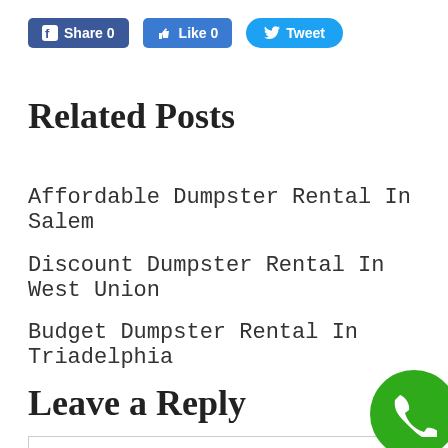[Figure (other): Social sharing buttons: Facebook Share 0, Like 0, Tweet]
Related Posts
Affordable Dumpster Rental In Salem
Discount Dumpster Rental In West Union
Budget Dumpster Rental In Triadelphia
Leave a Reply
[Figure (other): Green circular phone/call button at bottom right]